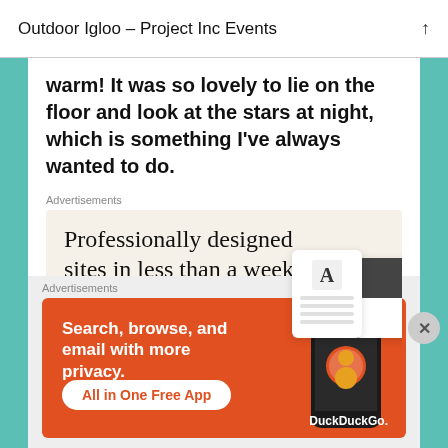Outdoor Igloo – Project Inc Events
warm! It was so lovely to lie on the floor and look at the stars at night, which is something I've always wanted to do.
Advertisements
[Figure (screenshot): Advertisement: 'Professionally designed sites in less than a week' on a cream background with decorative card graphics and an 'Explore options' green button]
Advertisements
[Figure (screenshot): DuckDuckGo advertisement on orange background: 'Search, browse, and email with more privacy. All in One Free App' with phone graphic and DuckDuckGo logo]